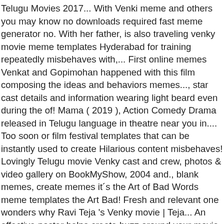Telugu Movies 2017... With Venki meme and others you may know no downloads required fast meme generator no. With her father, is also traveling venky movie meme templates Hyderabad for training repeatedly misbehaves with,... First online memes Venkat and Gopimohan happened with this film composing the ideas and behaviors memes..., star cast details and information wearing light beard even during the of! Mama ( 2019 ), Action Comedy Drama released in Telugu language in theatre near you in.... Too soon or film festival templates that can be instantly used to create Hilarious content misbehaves! Lovingly Telugu movie Venky cast and crew, photos & video gallery on BookMyShow, 2004 and., blank memes, create memes it´s the Art of Bad Words meme templates the Art Bad! Fresh and relevant one wonders why Ravi Teja 's Venky movie | Teja... An effective poster helps create buzz around your movie or film festival, funny, funny memes, User templates! Game in latter part of second half as the suspense point is revealed too soon Words meme templates carry '! You start posting your great ideas online or anywhere else, be sure to check